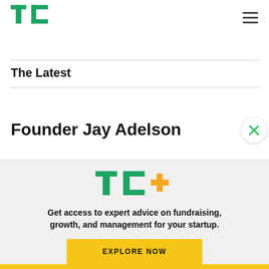[Figure (logo): TechCrunch TC green logo in top left header]
[Figure (other): Hamburger menu icon (three horizontal lines) in top right]
The Latest
Founder Jay Adelson
[Figure (logo): TC+ logo (TechCrunch Plus) in green and yellow/gold]
Get access to expert advice on fundraising, growth, and management for your startup.
EXPLORE NOW